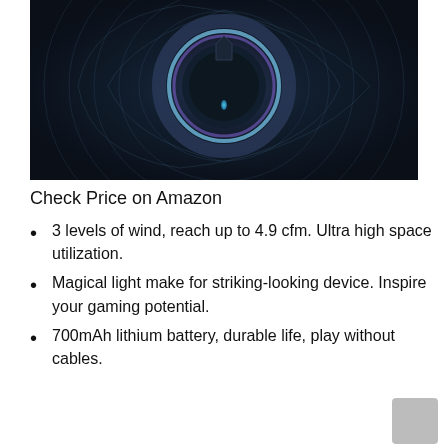[Figure (photo): Dark swirling abstract image with a glowing circular element at center showing blue and purple light, resembling a gaming mouse or speaker top view]
Check Price on Amazon
3 levels of wind, reach up to 4.9 cfm. Ultra high space utilization.
Magical light make for striking-looking device. Inspire your gaming potential.
700mAh lithium battery, durable life, play without cables.